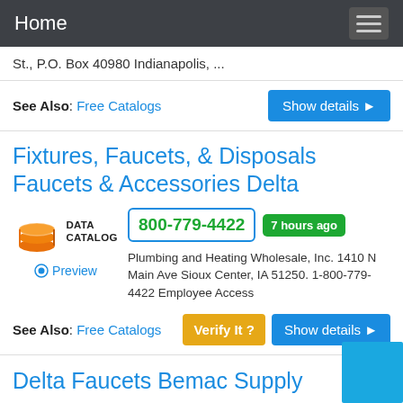Home
St., P.O. Box 40980 Indianapolis, ...
See Also: Free Catalogs
Fixtures, Faucets, & Disposals Faucets & Accessories Delta
[Figure (logo): Data Catalog logo with stacked disk icon and text DATA CATALOG]
800-779-4422
7 hours ago
Plumbing and Heating Wholesale, Inc. 1410 N Main Ave Sioux Center, IA 51250. 1-800-779-4422 Employee Access
Preview
See Also: Free Catalogs
Delta Faucets Bemac Supply